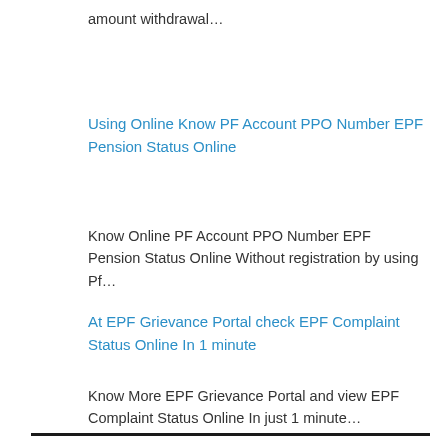amount withdrawal…
Using Online Know PF Account PPO Number EPF Pension Status Online
Know Online PF Account PPO Number EPF Pension Status Online Without registration by using Pf…
At EPF Grievance Portal check EPF Complaint Status Online In 1 minute
Know More EPF Grievance Portal and view EPF Complaint Status Online In just 1 minute…
Category: Other